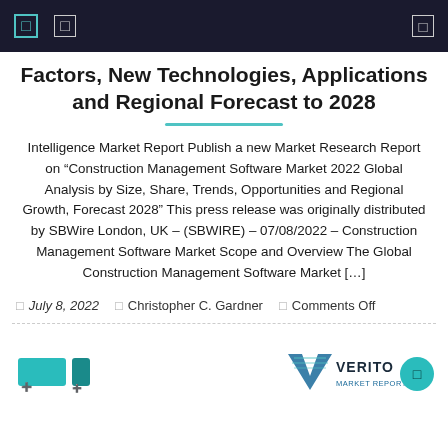Navigation bar with icons
Factors, New Technologies, Applications and Regional Forecast to 2028
Intelligence Market Report Publish a new Market Research Report on “Construction Management Software Market 2022 Global Analysis by Size, Share, Trends, Opportunities and Regional Growth, Forecast 2028” This press release was originally distributed by SBWire London, UK – (SBWIRE) – 07/08/2022 – Construction Management Software Market Scope and Overview The Global Construction Management Software Market […]
July 8, 2022   Christopher C. Gardner   Comments Off
[Figure (logo): Verito Market Reports logo with teal V icon and text]